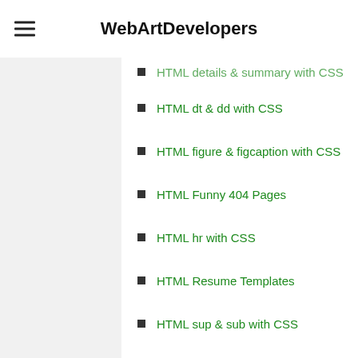WebArtDevelopers
HTML details & summary with CSS
HTML dt & dd with CSS
HTML figure & figcaption with CSS
HTML Funny 404 Pages
HTML hr with CSS
HTML Resume Templates
HTML sup & sub with CSS
HTML UI Kits
HTML UI Kits
Icon Sets
Icons
IMAGE HOVER EFFECTS
IMAGE MAGNIFY/ZOOM EFFECTS
IMAGE OVERLAY EFFECTS
IMAGE SHADOW EFFECTS